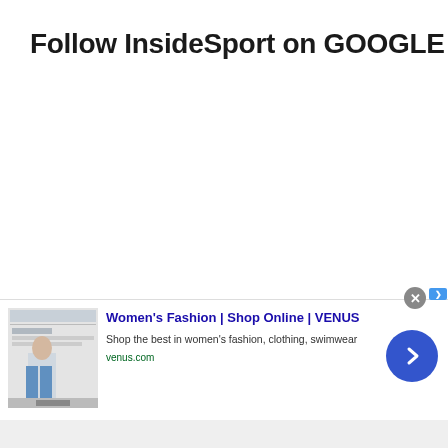Follow InsideSport on GOOGLE NEWS
[Figure (screenshot): Advertisement banner for Women's Fashion | Shop Online | VENUS showing a website screenshot thumbnail on the left, ad text in the middle, and a blue circular arrow button on the right. Includes a close (X) button at top right of the banner.]